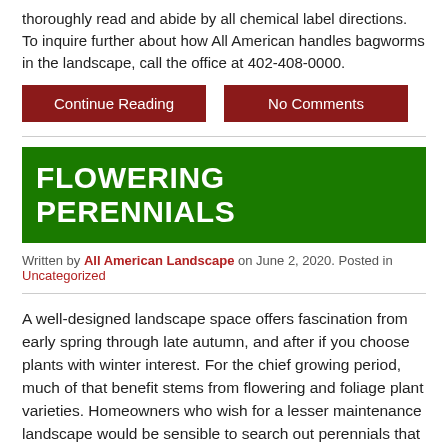thoroughly read and abide by all chemical label directions. To inquire further about how All American handles bagworms in the landscape, call the office at 402-408-0000.
Continue Reading | No Comments
FLOWERING PERENNIALS
Written by All American Landscape on June 2, 2020. Posted in Uncategorized
A well-designed landscape space offers fascination from early spring through late autumn, and after if you choose plants with winter interest. For the chief growing period, much of that benefit stems from flowering and foliage plant varieties. Homeowners who wish for a lesser maintenance landscape would be sensible to search out perennials that are both easy-to-grow and propose a lengthy blooming time. Many perennials bloom for two to four weeks, however, the lengthiest flowering perennials, like